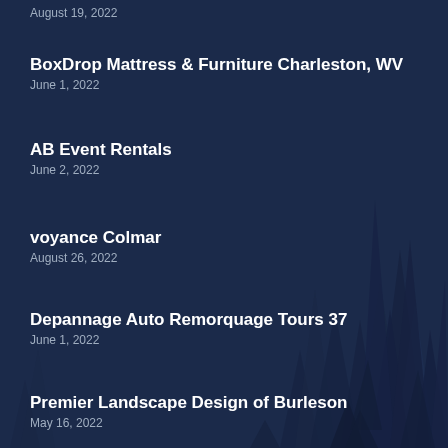August 19, 2022
BoxDrop Mattress & Furniture Charleston, WV
June 1, 2022
AB Event Rentals
June 2, 2022
voyance Colmar
August 26, 2022
Depannage Auto Remorquage Tours 37
June 1, 2022
Premier Landscape Design of Burleson
May 16, 2022